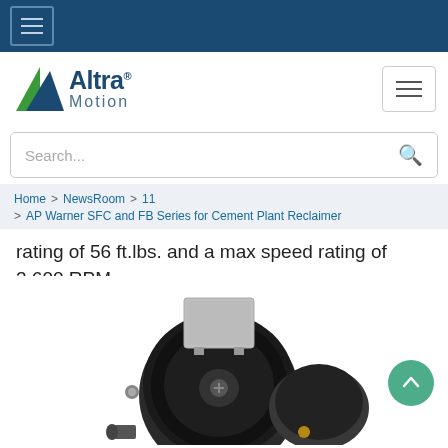Altra Motion – navigation top bar with hamburger menu
[Figure (logo): Altra Motion logo with green/blue triangle arrow, company name in dark blue, and 'Motion' in gray-blue]
Search...
Home > NewsRoom > 11 > AP Warner SFC and FB Series for Cement Plant Reclaimer
rating of 56 ft.lbs. and a max speed rating of 3,600 RPM.
[Figure (photo): Industrial motor/brake unit – circular disc brake with mounting hardware and junction box on top, viewed from front angle]